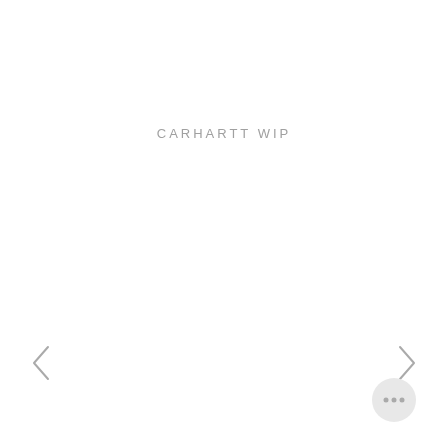CARHARTT WIP
[Figure (illustration): Left navigation arrow chevron]
[Figure (illustration): Right navigation arrow chevron]
[Figure (illustration): Chat bubble / messenger button icon in bottom right corner]